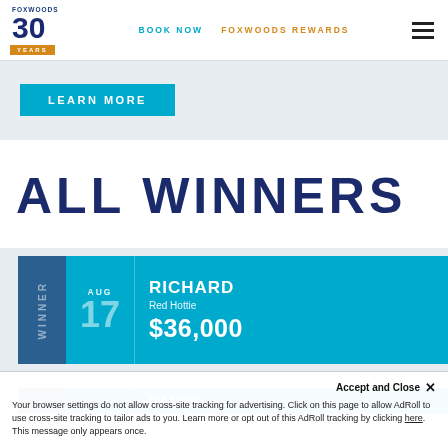BOOK NOW  FOXWOODS REWARDS
[Figure (logo): Foxwoods 30 Years anniversary logo in navy blue and gold]
LEARN MORE
ALL WINNERS
WINNER | AUG 17 | RICHARD | Red Hottie | $36,000
RANDY
Accept and Close ×
Your browser settings do not allow cross-site tracking for advertising. Click on this page to allow AdRoll to use cross-site tracking to tailor ads to you. Learn more or opt out of this AdRoll tracking by clicking here. This message only appears once.